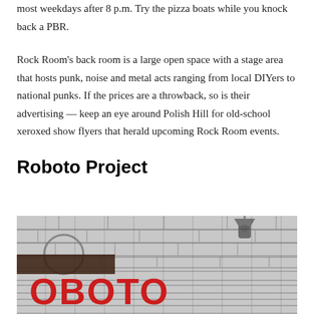most weekdays after 8 p.m. Try the pizza boats while you knock back a PBR.
Rock Room's back room is a large open space with a stage area that hosts punk, noise and metal acts ranging from local DIYers to national punks. If the prices are a throwback, so is their advertising — keep an eye around Polish Hill for old-school xeroxed show flyers that herald upcoming Rock Room events.
Roboto Project
[Figure (photo): Black and white photograph of a stone building exterior with a wall-mounted lantern light fixture and red letters spelling ROBOTO on the facade.]